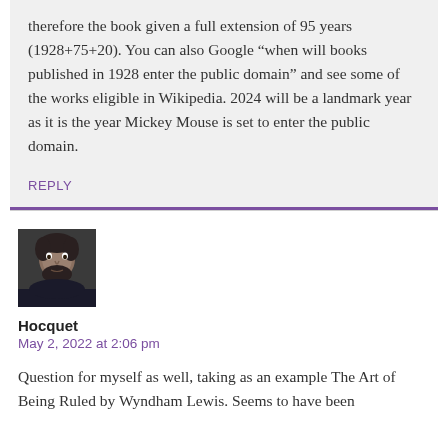therefore the book given a full extension of 95 years (1928+75+20). You can also Google “when will books published in 1928 enter the public domain” and see some of the works eligible in Wikipedia. 2024 will be a landmark year as it is the year Mickey Mouse is set to enter the public domain.
REPLY
[Figure (photo): Profile photo of user Hocquet, showing a man with dark hair and beard]
Hocquet
May 2, 2022 at 2:06 pm
Question for myself as well, taking as an example The Art of Being Ruled by Wyndham Lewis. Seems to have been